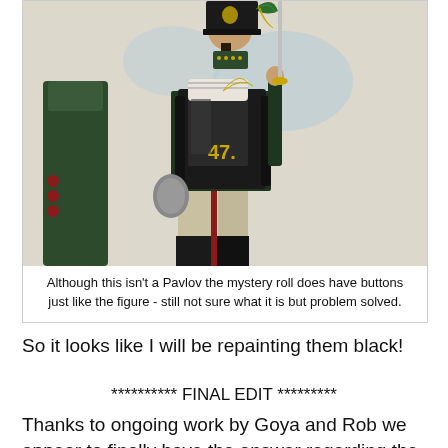[Figure (illustration): Historical military figure illustration showing a soldier in dark green uniform viewed from behind, wearing a shako hat, carrying a large backpack with number '47' visible, holding a rifle or sword upright. A partial figure visible on the left side.]
Although this isn't a Pavlov the mystery roll does have buttons just like the figure - still not sure what it is but problem solved.
So it looks like I will be repainting them black!
********** FINAL EDIT *********
Thanks to ongoing work by Goya and Rob we appear to finally have the answer regarding the mystery item. I'm 99%